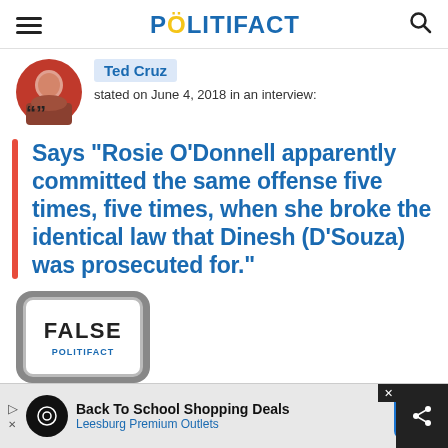POLITIFACT
Ted Cruz stated on June 4, 2018 in an interview:
Says "Rosie O'Donnell apparently committed the same offense five times, five times, when she broke the identical law that Dinesh (D'Souza) was prosecuted for."
[Figure (other): FALSE rating stamp with POLITIFACT branding]
[Figure (other): Advertisement banner: Back To School Shopping Deals, Leesburg Premium Outlets]